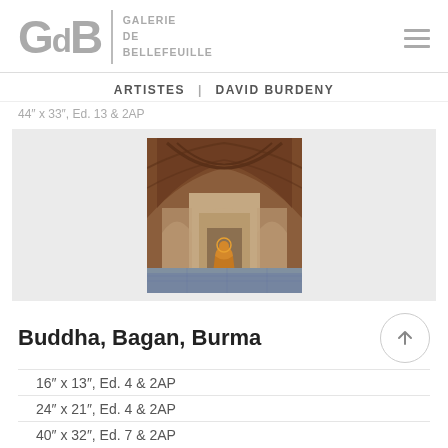GdB | GALERIE DE BELLEFEUILLE
ARTISTES | DAVID BURDENY
44" x 33", Ed. 13 & 2AP
[Figure (photo): A photograph of a Buddhist temple interior in Bagan, Burma showing a golden Buddha statue in an arched niche, with ornate brick vaulted ceilings and multiple receding archways.]
Buddha, Bagan, Burma
16" x 13", Ed. 4 & 2AP
24" x 21", Ed. 4 & 2AP
40" x 32", Ed. 7 & 2AP